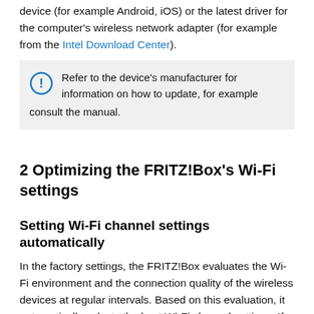device (for example Android, iOS) or the latest driver for the computer's wireless network adapter (for example from the Intel Download Center).
Refer to the device's manufacturer for information on how to update, for example consult the manual.
2 Optimizing the FRITZ!Box's Wi-Fi settings
Setting Wi-Fi channel settings automatically
In the factory settings, the FRITZ!Box evaluates the Wi-Fi environment and the connection quality of the wireless devices at regular intervals. Based on this evaluation, it automatically selects the best Wi-Fi channel settings. If you'd like to know more about